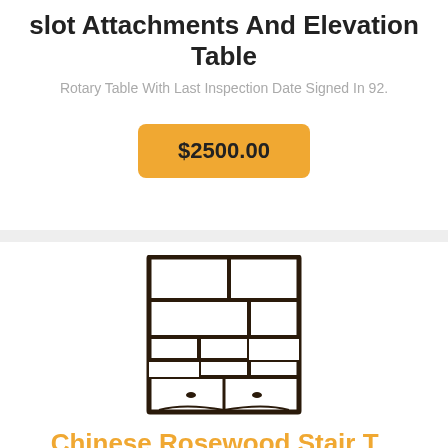slot Attachments And Elevation Table
Rotary Table With Last Inspection Date Signed In 92.
$2500.00
[Figure (photo): A dark wood Chinese-style open bookshelf unit with multiple asymmetric compartments and small drawers at the bottom.]
Chinese Rosewood Stair T...